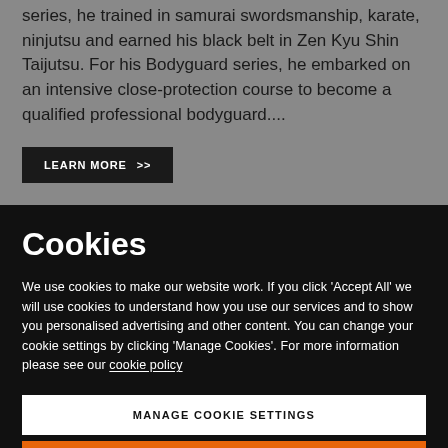series, he trained in samurai swordsmanship, karate, ninjutsu and earned his black belt in Zen Kyu Shin Taijutsu. For his Bodyguard series, he embarked on an intensive close-protection course to become a qualified professional bodyguard....
LEARN MORE >>
Cookies
We use cookies to make our website work. If you click 'Accept All' we will use cookies to understand how you use our services and to show you personalised advertising and other content. You can change your cookie settings by clicking 'Manage Cookies'. For more information please see our cookie policy
MANAGE COOKIE SETTINGS
ACCEPT ALL COOKIES